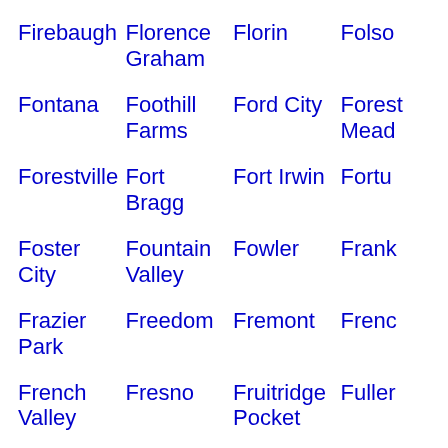Firebaugh
Florence Graham
Florin
Folsom
Fontana
Foothill Farms
Ford City
Forest Mead
Forestville
Fort Bragg
Fort Irwin
Fortu
Foster City
Fountain Valley
Fowler
Frank
Frazier Park
Freedom
Fremont
Frenc
French Valley
Fresno
Fruitridge Pocket
Fuller
Garden